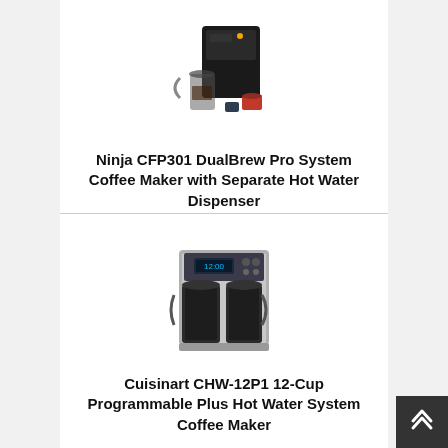[Figure (photo): Ninja CFP301 DualBrew Pro System Coffee Maker product photo showing the coffee maker with various cups and accessories]
Ninja CFP301 DualBrew Pro System Coffee Maker with Separate Hot Water Dispenser
[Figure (illustration): Amazon 'View On Amazon' button with amazon logo]
[Figure (photo): Cuisinart CHW-12P1 12-Cup Programmable Plus Hot Water System Coffee Maker product photo showing stainless steel coffee maker]
Cuisinart CHW-12P1 12-Cup Programmable Plus Hot Water System Coffee Maker